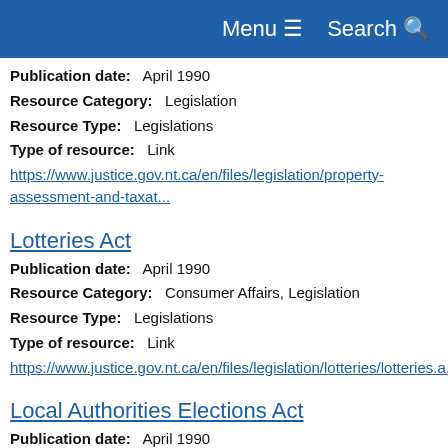Menu  Search
Publication date:   April 1990
Resource Category:   Legislation
Resource Type:   Legislations
Type of resource:   Link
https://www.justice.gov.nt.ca/en/files/legislation/property-assessment-and-taxat...
Lotteries Act
Publication date:   April 1990
Resource Category:   Consumer Affairs, Legislation
Resource Type:   Legislations
Type of resource:   Link
https://www.justice.gov.nt.ca/en/files/legislation/lotteries/lotteries.a.pdf
Local Authorities Elections Act
Publication date:   April 1990